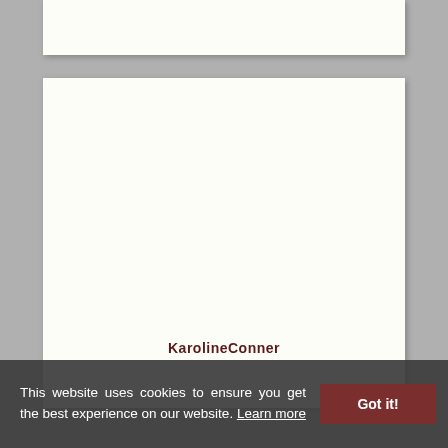[Figure (screenshot): Top portion of a white document/page card visible at top of screen]
[Figure (screenshot): Main white document/page card in the center of the screen, mostly blank]
This website uses cookies to ensure you get the best experience on our website. Learn more
Got it!
KarolineConner